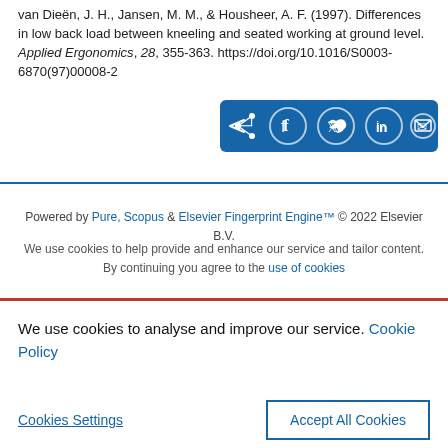van Dieën, J. H., Jansen, M. M., & Housheer, A. F. (1997). Differences in low back load between kneeling and seated working at ground level. Applied Ergonomics, 28, 355-363. https://doi.org/10.1016/S0003-6870(97)00008-2
[Figure (other): Social share button bar with icons for share, Facebook, Twitter, LinkedIn, and email on a blue background]
Powered by Pure, Scopus & Elsevier Fingerprint Engine™ © 2022 Elsevier B.V.

We use cookies to help provide and enhance our service and tailor content. By continuing you agree to the use of cookies
We use cookies to analyse and improve our service. Cookie Policy
Cookies Settings    Accept All Cookies